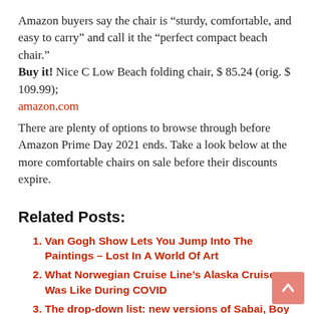Amazon buyers say the chair is “sturdy, comfortable, and easy to carry” and call it the “perfect compact beach chair.” Buy it! Nice C Low Beach folding chair, $ 85.24 (orig. $ 109.99); amazon.com
There are plenty of options to browse through before Amazon Prime Day 2021 ends. Take a look below at the more comfortable chairs on sale before their discounts expire.
Related Posts:
Van Gogh Show Lets You Jump Into The Paintings – Lost In A World Of Art
What Norwegian Cruise Line’s Alaska Cruise Was Like During COVID
The drop-down list: new versions of Sabai, Boy Smells, Ghia and more
Calling lovers of mid-century modern design at Strauss & Co’s October auction in Cape Town